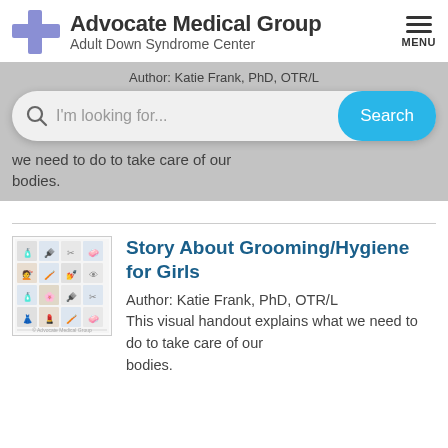Advocate Medical Group — Adult Down Syndrome Center
[Figure (screenshot): Search bar overlay with truncated text: Author: Katie Frank, PhD, OTR/L and partial body text 'we need to do to take care of our bodies.']
Story About Grooming/Hygiene for Girls
Author: Katie Frank, PhD, OTR/L This visual handout explains what we need to do to take care of our bodies.
[Figure (illustration): Thumbnail image of a visual grooming/hygiene handout for girls showing a grid of pictograms]